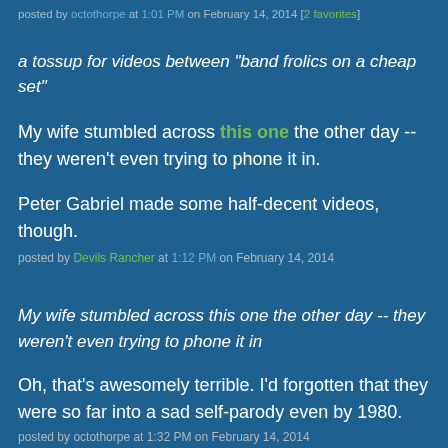posted by octothorpe at 1:01 PM on February 14, 2014 [2 favorites]
a tossup for videos between "band frolics on a cheap set"
My wife stumbled across this one the other day -- they weren't even trying to phone it in.
Peter Gabriel made some half-decent videos, though.
posted by Devils Rancher at 1:12 PM on February 14, 2014
My wife stumbled across this one the other day -- they weren't even trying to phone it in
Oh, that's awesomely terrible. I'd forgotten that they were so far into a sad self-parody even by 1980.
posted by octothorpe at 1:32 PM on February 14, 2014